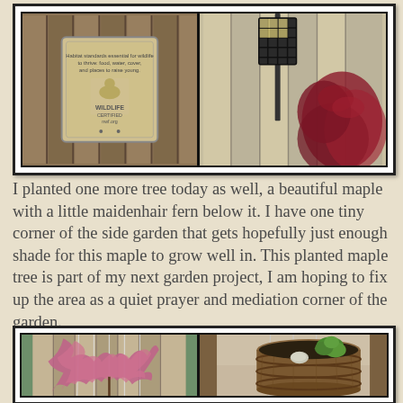[Figure (photo): Two-panel photo collage at top: left panel shows a NWF Certified Wildlife Habitat sign mounted on a wooden fence; right panel shows a black wire suet cage bird feeder on a pole with reddish foliage in background.]
I planted one more tree today as well, a beautiful maple with a little maidenhair fern below it. I have one tiny corner of the side garden that gets hopefully just enough shade for this maple to grow well in. This planted maple tree is part of my next garden project, I am hoping to fix up the area as a quiet prayer and mediation corner of the garden.
[Figure (photo): Two-panel photo collage at bottom: left panel shows a weeping Japanese maple tree with reddish-pink lacy leaves supported by stakes against a wooden fence; right panel shows a wooden barrel planter filled with dark soil, a white rock, and a small green fern plant with support stakes.]